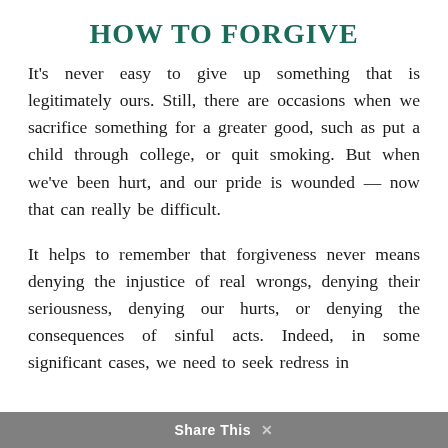HOW TO FORGIVE
It's never easy to give up something that is legitimately ours. Still, there are occasions when we sacrifice something for a greater good, such as put a child through college, or quit smoking. But when we've been hurt, and our pride is wounded — now that can really be difficult.
It helps to remember that forgiveness never means denying the injustice of real wrongs, denying their seriousness, denying our hurts, or denying the consequences of sinful acts. Indeed, in some significant cases, we need to seek redress in
Share This